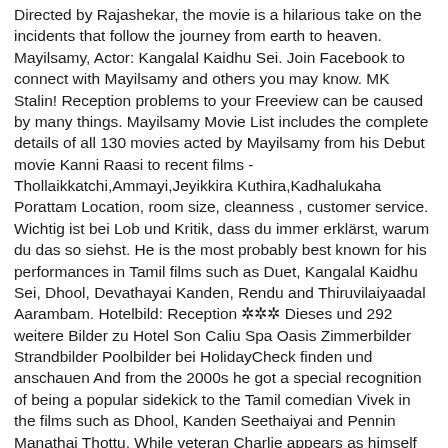Directed by Rajashekar, the movie is a hilarious take on the incidents that follow the journey from earth to heaven. Mayilsamy, Actor: Kangalal Kaidhu Sei. Join Facebook to connect with Mayilsamy and others you may know. MK Stalin! Reception problems to your Freeview can be caused by many things. Mayilsamy Movie List includes the complete details of all 130 movies acted by Mayilsamy from his Debut movie Kanni Raasi to recent films - Thollaikkatchi,Ammayi,Jeyikkira Kuthira,Kadhalukaha Porattam Location, room size, cleanness , customer service. Wichtig ist bei Lob und Kritik, dass du immer erklärst, warum du das so siehst. He is the most probably best known for his performances in Tamil films such as Duet, Kangalal Kaidhu Sei, Dhool, Devathayai Kanden, Rendu and Thiruvilaiyaadal Aarambam. Hotelbild: Reception ✲✲✲ Dieses und 292 weitere Bilder zu Hotel Son Caliu Spa Oasis Zimmerbilder Strandbilder Poolbilder bei HolidayCheck finden und anschauen And from the 2000s he got a special recognition of being a popular sidekick to the Tamil comedian Vivek in the films such as Dhool, Kanden Seethaiyai and Pennin Manathai Thottu. While veteran Charlie appears as himself as an actor, the filmmakers have roped in a host of comedians including Delhi Ganesh, Paandu, Madan Bob, Powerstar Srinivasan, Vaiyapuri Scissor Manohar, among others. Latest Mayilsamy-son Photos: Find all Mayilsamy-son latest images & photos & popular Mayilsamy-son pics and all archive of Photo Gallery published on Mayilsamy-son by Samayam Tamil Mayilsamy is a member of Vimeo, the home for high quality videos and the people who love them. Take a look! He predominantly appears in the Tamil films, and she is also a regular guest judge on the Asathapovathu Yaaru on Sun TV in Chennai. Mayilsamy is an actor, known for Kangalal